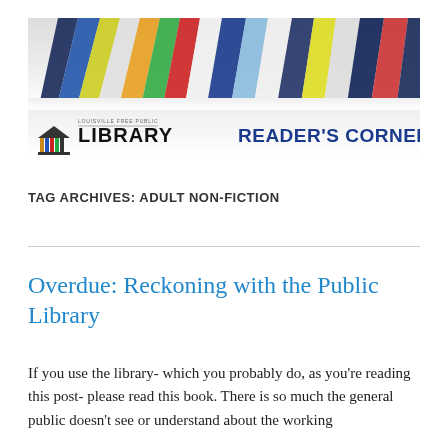[Figure (illustration): Louisville Free Public Library banner header showing colorful book spines along the top, with the library logo on the left and 'READER'S CORNER' text in bold blue on the right]
TAG ARCHIVES: ADULT NON-FICTION
Overdue: Reckoning with the Public Library
If you use the library- which you probably do, as you're reading this post- please read this book. There is so much the general public doesn't see or understand about the working of public libraries, and this book does a good job